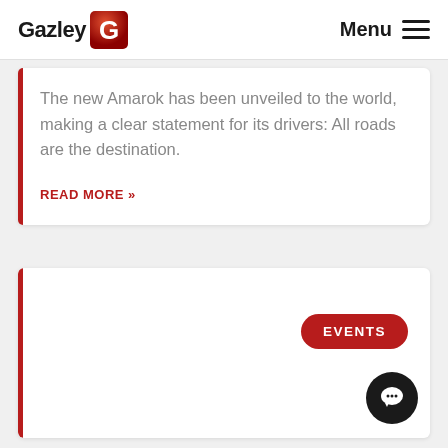Gazley | Menu
The new Amarok has been unveiled to the world, making a clear statement for its drivers: All roads are the destination.
READ MORE »
EVENTS